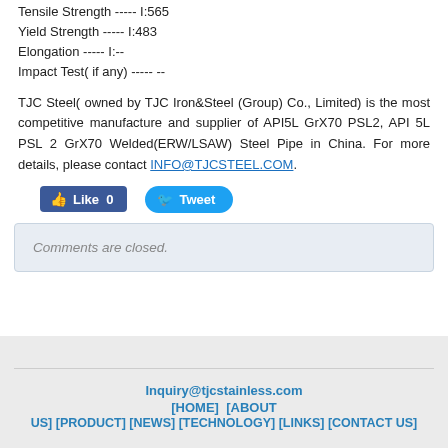Tensile Strength ----- I:565
Yield Strength ----- I:483
Elongation ----- I:--
Impact Test( if any) ----- --
TJC Steel( owned by TJC Iron&Steel (Group) Co., Limited) is the most competitive manufacture and supplier of API5L GrX70 PSL2, API 5L PSL 2 GrX70 Welded(ERW/LSAW) Steel Pipe in China. For more details, please contact INFO@TJCSTEEL.COM.
[Figure (screenshot): Social media buttons: blue Facebook Like button with thumb icon showing '0 Like 0', and blue Twitter Tweet button with bird icon showing 'Tweet']
Comments are closed.
Inquiry@tjcstainless.com [HOME] [ABOUT US] [PRODUCT] [NEWS] [TECHNOLOGY] [LINKS] [CONTACT US]